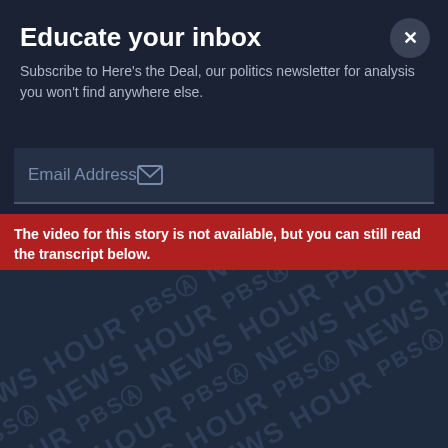Educate your inbox
Subscribe to Here's the Deal, our politics newsletter for analysis you won't find anywhere else.
Email Address
The video for this story is not available, but you can still read the transcript below.
[Figure (screenshot): PBS NewsHour repeating watermark background pattern in dark blue/navy color]